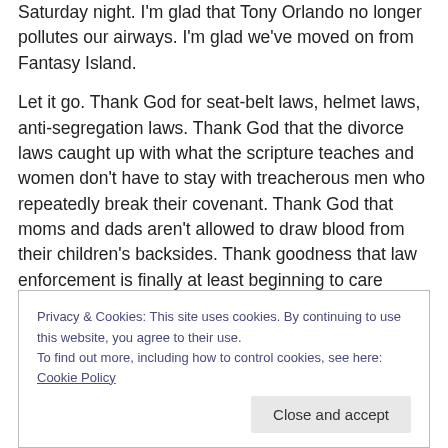Saturday night. I'm glad that Tony Orlando no longer pollutes our airways. I'm glad we've moved on from Fantasy Island.
Let it go. Thank God for seat-belt laws, helmet laws, anti-segregation laws. Thank God that the divorce laws caught up with what the scripture teaches and women don't have to stay with treacherous men who repeatedly break their covenant. Thank God that moms and dads aren't allowed to draw blood from their children's backsides. Thank goodness that law enforcement is finally at least beginning to care about rape victims and incest cases, and that
Privacy & Cookies: This site uses cookies. By continuing to use this website, you agree to their use.
To find out more, including how to control cookies, see here: Cookie Policy
Close and accept